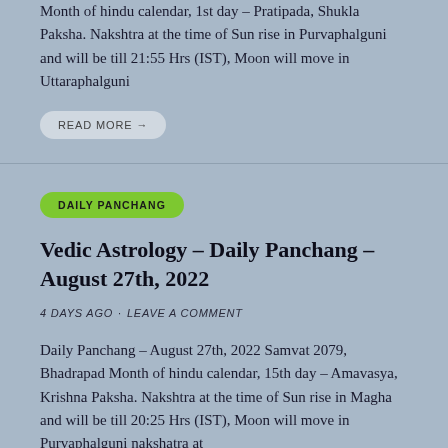Month of hindu calendar, 1st day – Pratipada, Shukla Paksha. Nakshtra at the time of Sun rise in Purvaphalguni and will be till 21:55 Hrs (IST), Moon will move in Uttaraphalguni
READ MORE →
DAILY PANCHANG
Vedic Astrology – Daily Panchang – August 27th, 2022
4 DAYS AGO · LEAVE A COMMENT
Daily Panchang – August 27th, 2022 Samvat 2079, Bhadrapad Month of hindu calendar, 15th day – Amavasya, Krishna Paksha. Nakshtra at the time of Sun rise in Magha and will be till 20:25 Hrs (IST), Moon will move in Purvaphalguni nakshatra at
READ MORE →